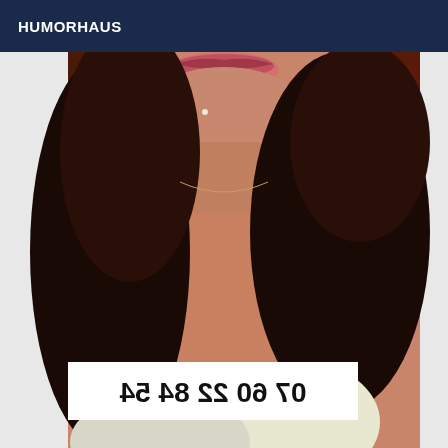HUMORHAUS
[Figure (photo): Close-up photo of a woman with dark curly hair, showing her neck and décolletage area, wearing a white garment. A mirrored/reversed phone number is shown at the bottom of the image.]
07 60 22 84 54